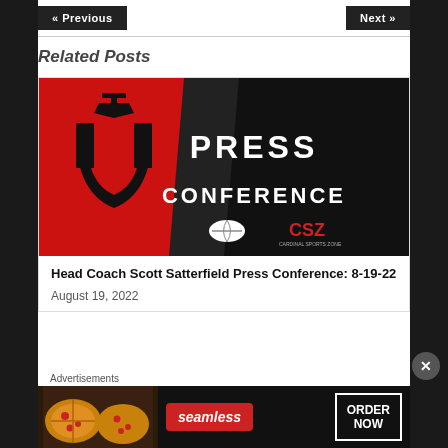« Previous   Next »
Related Posts
[Figure (photo): Press Conference promotional image with red and black background showing a U logo and text 'PRESS CONFERENCE' with football and CSZ logo]
Head Coach Scott Satterfield Press Conference: 8-19-22
August 19, 2022
Advertisements
[Figure (photo): Seamless food delivery advertisement banner with pizza image, Seamless logo, and ORDER NOW button]